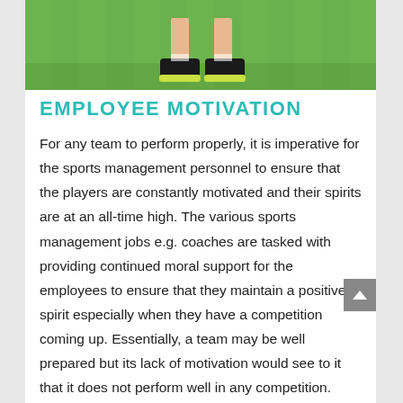[Figure (photo): Photo of a person's legs and feet wearing dark athletic shoes with yellow-green soles, standing on green grass. Only the lower legs and feet are visible.]
EMPLOYEE MOTIVATION
For any team to perform properly, it is imperative for the sports management personnel to ensure that the players are constantly motivated and their spirits are at an all-time high. The various sports management jobs e.g. coaches are tasked with providing continued moral support for the employees to ensure that they maintain a positive spirit especially when they have a competition coming up. Essentially, a team may be well prepared but its lack of motivation would see to it that it does not perform well in any competition. Players' motivation cuts across remuneration and benefits, providing a conducive training and living conditions